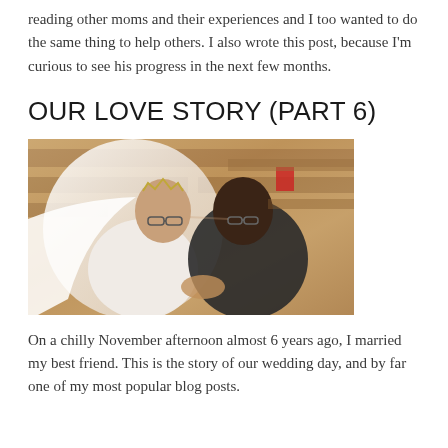reading other moms and their experiences and I too wanted to do the same thing to help others. I also wrote this post, because I'm curious to see his progress in the next few months.
OUR LOVE STORY (PART 6)
[Figure (photo): A bride and groom kissing in a church pew. The bride wears a white dress and veil with a tiara, and glasses. The groom is in a dark suit. Wooden church pews are visible in the background.]
On a chilly November afternoon almost 6 years ago, I married my best friend. This is the story of our wedding day, and by far one of my most popular blog posts.